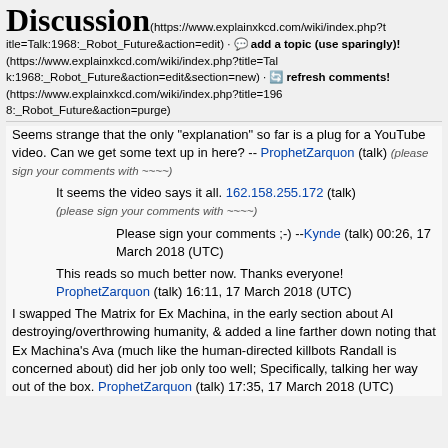Discussion
https://www.explainxkcd.com/wiki/index.php?title=Talk:1968:_Robot_Future&action=edit) · add a topic (use sparingly)! (https://www.explainxkcd.com/wiki/index.php?title=Talk:1968:_Robot_Future&action=edit&section=new) · refresh comments! (https://www.explainxkcd.com/wiki/index.php?title=1968:_Robot_Future&action=purge)
Seems strange that the only "explanation" so far is a plug for a YouTube video. Can we get some text up in here? -- ProphetZarquon (talk) (please sign your comments with ~~~~)
It seems the video says it all. 162.158.255.172 (talk) (please sign your comments with ~~~~)
Please sign your comments ;-) --Kynde (talk) 00:26, 17 March 2018 (UTC)
This reads so much better now. Thanks everyone! ProphetZarquon (talk) 16:11, 17 March 2018 (UTC)
I swapped The Matrix for Ex Machina, in the early section about AI destroying/overthrowing humanity, & added a line farther down noting that Ex Machina's Ava (much like the human-directed killbots Randall is concerned about) did her job only too well; Specifically, talking her way out of the box. ProphetZarquon (talk) 17:35, 17 March 2018 (UTC)